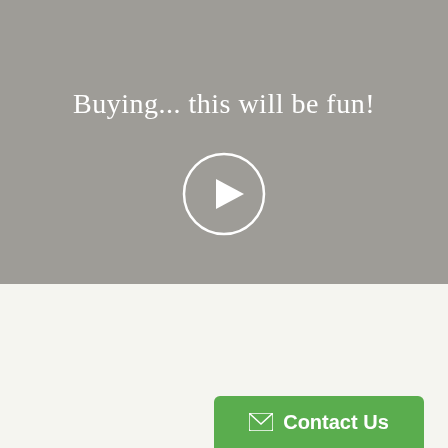[Figure (screenshot): Gray video thumbnail background with play button circle in center]
Buying... this will be fun!
[Figure (other): Green 'Contact Us' button with envelope icon at bottom right]